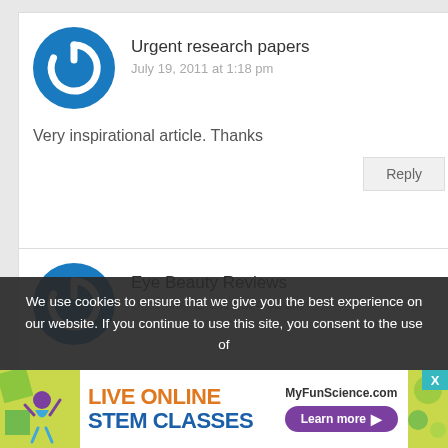Urgent research papers
July 19, 2011 at 1:18 pm
Very inspirational article. Thanks
Reply
Eye Beauty Reviews
December 2, 2011 at 4:02 am
We use cookies to ensure that we give you the best experience on our website. If you continue to use this site, you consent to the use of
[Figure (infographic): Ad banner: LIVE ONLINE STEM CLASSES - MyFunScience.com Learn more button, with illustration of child and colorful background]